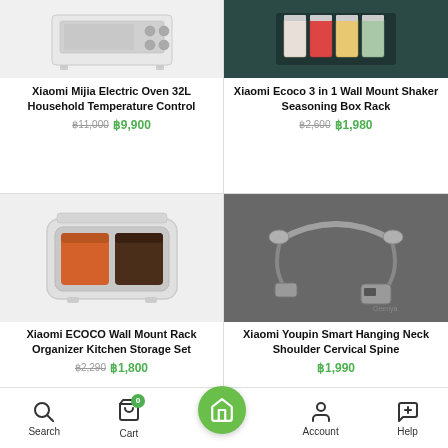[Figure (photo): Xiaomi Mijia Electric Oven 32L - white oven product photo on light background]
Xiaomi Mijia Electric Oven 32L Household Temperature Control
฿11,000 ฿9,900
[Figure (photo): Xiaomi Ecoco 3 in 1 Wall Mount Shaker Seasoning Box Rack - dark teal background with spice containers]
Xiaomi Ecoco 3 in 1 Wall Mount Shaker Seasoning Box Rack
฿2,600 ฿1,980
[Figure (photo): Xiaomi ECOCO Wall Mount Rack Organizer Kitchen Storage Set - white spice container set]
Xiaomi ECOCO Wall Mount Rack Organizer Kitchen Storage Set
฿2,290 ฿1,800
[Figure (photo): Xiaomi Youpin Smart Hanging Neck Shoulder Cervical Spine - gray neckband device on gray background]
Xiaomi Youpin Smart Hanging Neck Shoulder Cervical Spine
฿1,990
Search  Cart  Home  Account  Help